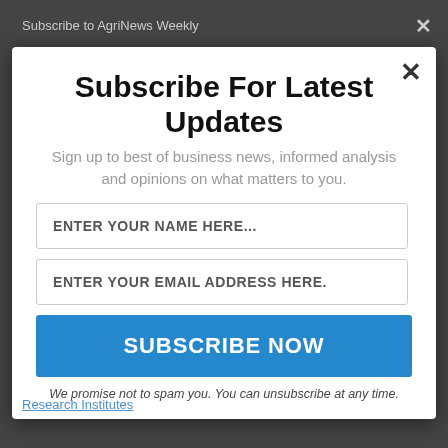Subscribe to AgriNews Weekly
Subscribe For Latest Updates
Sign up to best of business news, informed analysis and opinions on what matters to you.
ENTER YOUR NAME HERE...
ENTER YOUR EMAIL ADDRESS HERE.
SUBSCRIBE NOW
We promise not to spam you. You can unsubscribe at any time.
Research Institutes